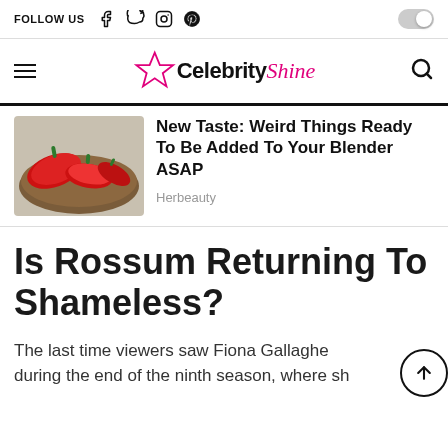FOLLOW US (social icons: Facebook, Twitter, Instagram, Pinterest) | toggle
Celebrity Shine (navigation logo with hamburger menu and search icon)
[Figure (photo): Red bell peppers and chili peppers on a wooden bowl/surface]
New Taste: Weird Things Ready To Be Added To Your Blender ASAP
Herbeauty
Is Rossum Returning To Shameless?
The last time viewers saw Fiona Gallaghe during the end of the ninth season, where she